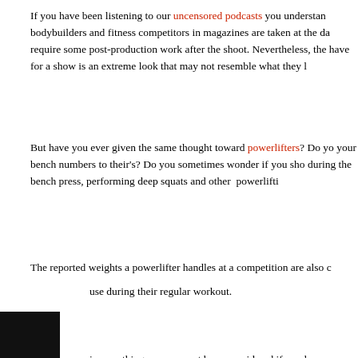If you have been listening to our uncensored podcasts you understand bodybuilders and fitness competitors in magazines are taken at the da require some post-production work after the shoot. Nevertheless, the have for a show is an extreme look that may not resemble what they
But have you ever given the same thought toward powerlifters? Do you your bench numbers to their's? Do you sometimes wonder if you sho during the bench press, performing deep squats and other powerlifti
The reported weights a powerlifter handles at a competition are also use during their regular workout.
is something you may not have considered if you have never att erlifting competition.
This is exactly why Brad Pilon has decided to give it a try. To turn thin fasted prior to the competition to prove his point that fasting won't dec
There is a difference between the conditioning and look you can regu preparing to step on a bodybuilding stage for competition. Likewise, it a difference between a regular workout and a competition-style lift.
In today's podcast your hosts Brad Pilon and John Barban will discus